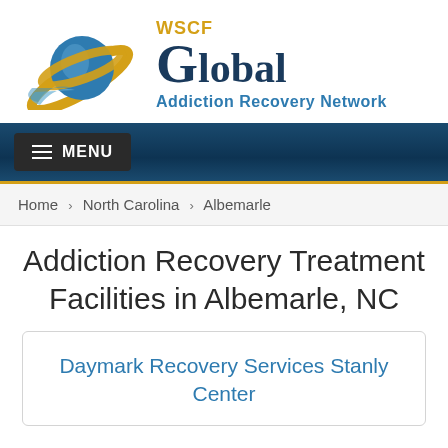[Figure (logo): WSCF Global Addiction Recovery Network logo with globe/planet graphic in blue and gold]
[Figure (screenshot): Navigation bar with dark blue gradient background and hamburger MENU button]
Home › North Carolina › Albemarle
Addiction Recovery Treatment Facilities in Albemarle, NC
Daymark Recovery Services Stanly Center